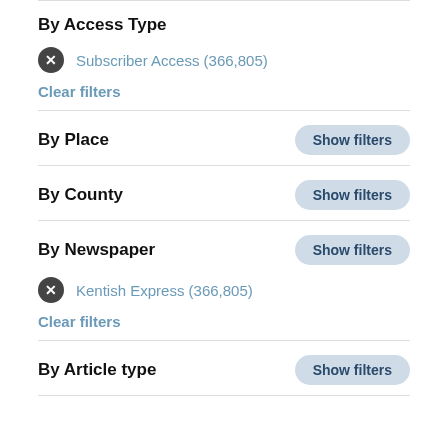By Access Type
Subscriber Access (366,805)
Clear filters
By Place
By County
By Newspaper
Kentish Express (366,805)
Clear filters
By Article type